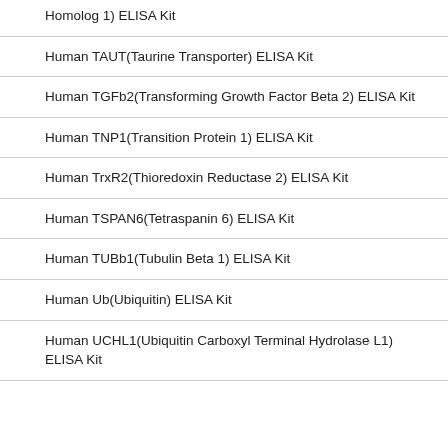Homolog 1) ELISA Kit
Human TAUT(Taurine Transporter) ELISA Kit
Human TGFb2(Transforming Growth Factor Beta 2) ELISA Kit
Human TNP1(Transition Protein 1) ELISA Kit
Human TrxR2(Thioredoxin Reductase 2) ELISA Kit
Human TSPAN6(Tetraspanin 6) ELISA Kit
Human TUBb1(Tubulin Beta 1) ELISA Kit
Human Ub(Ubiquitin) ELISA Kit
Human UCHL1(Ubiquitin Carboxyl Terminal Hydrolase L1) ELISA Kit